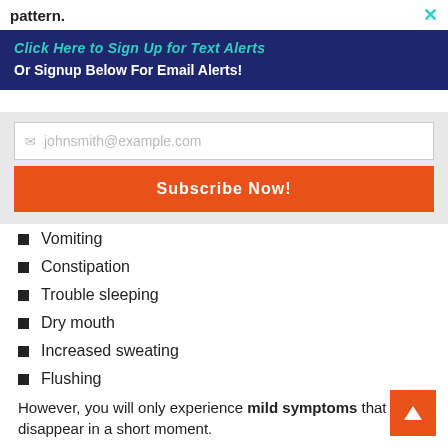pattern.
Click Here to Sign Up for Text Alerts
Or Signup Below For Email Alerts!
[Figure (other): Email subscription form with placeholder 'johnsmith@example.com' and orange 'Subscribe Now!' button]
Vomiting
Constipation
Trouble sleeping
Dry mouth
Increased sweating
Flushing
However, you will only experience mild symptoms that will disappear in a short moment.